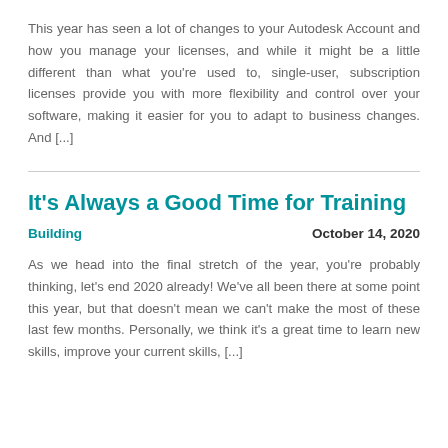This year has seen a lot of changes to your Autodesk Account and how you manage your licenses, and while it might be a little different than what you're used to, single-user, subscription licenses provide you with more flexibility and control over your software, making it easier for you to adapt to business changes. And [...]
It's Always a Good Time for Training
Building    October 14, 2020
As we head into the final stretch of the year, you're probably thinking, let's end 2020 already! We've all been there at some point this year, but that doesn't mean we can't make the most of these last few months. Personally, we think it's a great time to learn new skills, improve your current skills, [...]